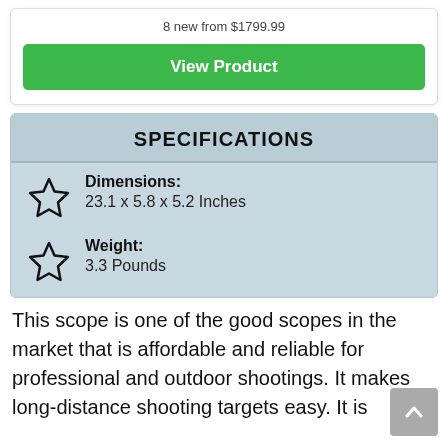8 new from $1799.99
View Product
SPECIFICATIONS
Dimensions: 23.1 x 5.8 x 5.2 Inches
Weight: 3.3 Pounds
This scope is one of the good scopes in the market that is affordable and reliable for professional and outdoor shootings. It makes long-distance shooting targets easy. It is